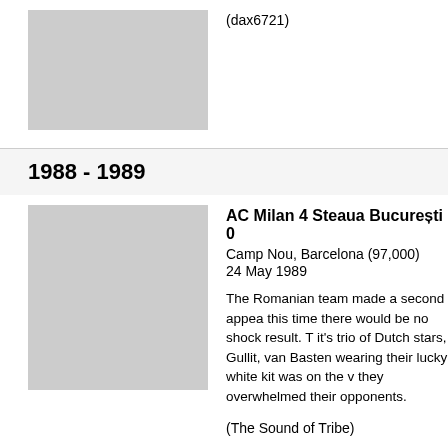[Figure (photo): Gray placeholder image, top left]
(dax6721)
1988 - 1989
[Figure (photo): Gray placeholder image, bottom left]
AC Milan 4 Steaua București 0
Camp Nou, Barcelona (97,000)
24 May 1989

The Romanian team made a second appear this time there would be no shock result. T it's trio of Dutch stars, Gullit, van Basten a wearing their lucky white kit was on the v they overwhelmed their opponents.

(The Sound of Tribe)